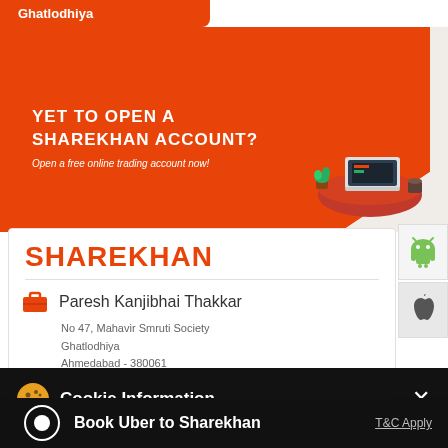Ghatlodhiya
[Figure (infographic): Sharekhan orange promotional banner with laptop illustration, text: YET TO OPEN A SHAREKHAN ACCOUNT? Open a free online trading account now!]
[Figure (logo): Android green robot icon on light grey background]
[Figure (logo): Apple logo icon on light grey background]
SHAREKHAN
Paresh Kanjibhai Thakkar
No 47, Mahavir Smruti Society
Ghatlodhiya
Ahmedabad - 380061
[Figure (infographic): Cookie Information overlay popup with cookie icon and close X button]
Cookie Information
On our website, we use services (including from third-party providers) that help us to improve our online presence (optimization of website) and to display content that is geared to their interests. We need your consent before being able to use these services.
Book Uber to Sharekhan
T&C Apply